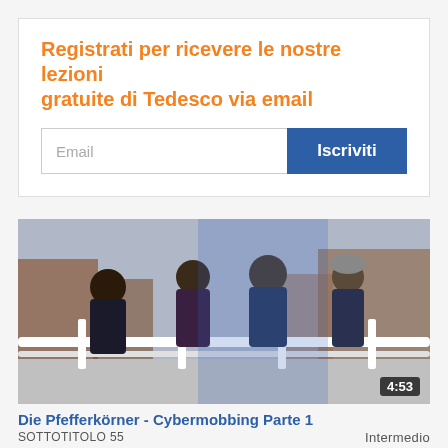Registrati per ricevere le nostre lezioni gratuite di Tedesco via email
Email
Iscriviti
[Figure (photo): Video thumbnail showing four children leaning on a railing outdoors near a bus stop or urban area. Duration badge shows 4:53 in bottom right corner.]
Die Pfefferkörner - Cybermobbing Parte 1
SOTTOTITOLO 55
Intermedio
Preferiti
[Figure (photo): Colorful video thumbnail visible at bottom of page, partially cropped.]